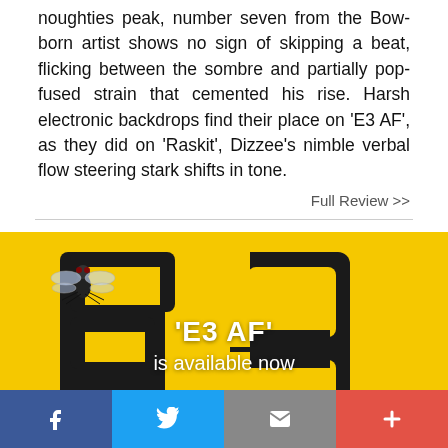noughties peak, number seven from the Bow-born artist shows no sign of skipping a beat, flicking between the sombre and partially pop-fused strain that cemented his rise. Harsh electronic backdrops find their place on 'E3 AF', as they did on 'Raskit', Dizzee's nimble verbal flow steering stark shifts in tone.
Full Review >>
[Figure (photo): Album cover image for 'E3 AF' on yellow background with large black E3 letters and a fly in the top left corner. White text overlay reads ''E3 AF' is available now'.]
Facebook | Twitter | Mail | +